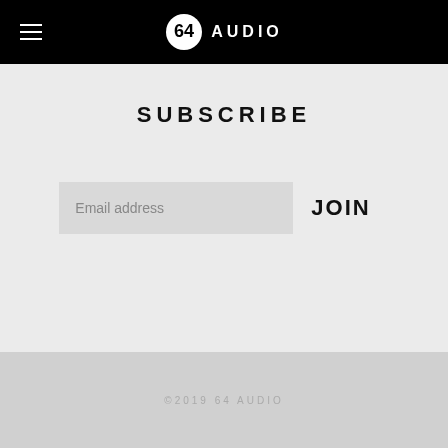64 AUDIO
SUBSCRIBE
Email address
JOIN
©2019 64 AUDIO